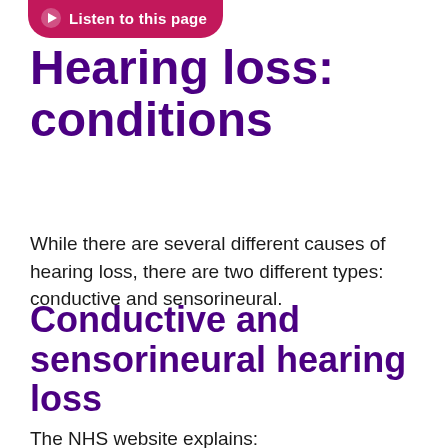[Figure (other): Listen to this page button with pink/magenta background and play icon]
Hearing loss: conditions
While there are several different causes of hearing loss, there are two different types: conductive and sensorineural.
Conductive and sensorineural hearing loss
The NHS website explains: